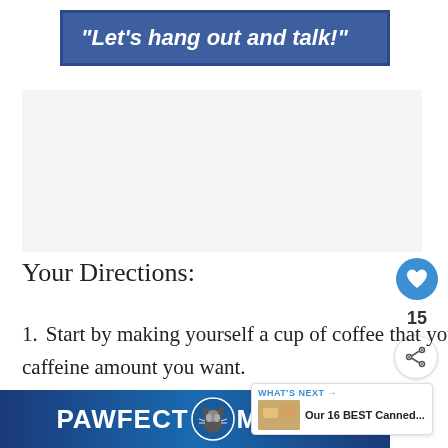“Let’s hang out and talk!”
[Figure (other): Empty light gray placeholder area below the title banner]
Your Directions:
Start by making yourself a cup of coffee that you will use. You can choose any caffeine amount you want.
[Figure (other): PAWFECT MATCH advertisement banner at the bottom with a cat graphic]
[Figure (other): WHAT'S NEXT panel: Our 16 BEST Canned...]